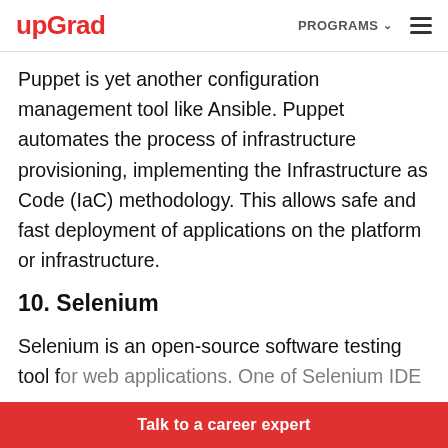upGrad | PROGRAMS
Puppet is yet another configuration management tool like Ansible. Puppet automates the process of infrastructure provisioning, implementing the Infrastructure as Code (IaC) methodology. This allows safe and fast deployment of applications on the platform or infrastructure.
10. Selenium
Selenium is an open-source software testing tool for web applications. One of Selenium IDE
Talk to a career expert